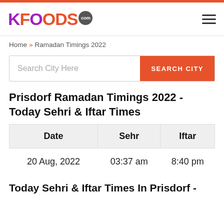KFOODS.com
Home » Ramadan Timings 2022
Search City Here
Prisdorf Ramadan Timings 2022 - Today Sehri & Iftar Times
| Date | Sehr | Iftar |
| --- | --- | --- |
| 20 Aug, 2022 | 03:37 am | 8:40 pm |
Today Sehri & Iftar Times In Prisdorf -